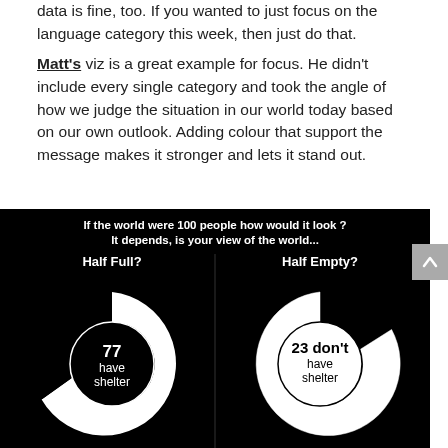data is fine, too. If you wanted to just focus on the language category this week, then just do that.
Matt's viz is a great example for focus. He didn't include every single category and took the angle of how we judge the situation in our world today based on our own outlook. Adding colour that support the message makes it stronger and lets it stand out.
[Figure (donut-chart): Two donut charts side by side on black background. Left: 'Half Full?' showing 77 have shelter. Right: 'Half Empty?' showing 23 don't have shelter.]